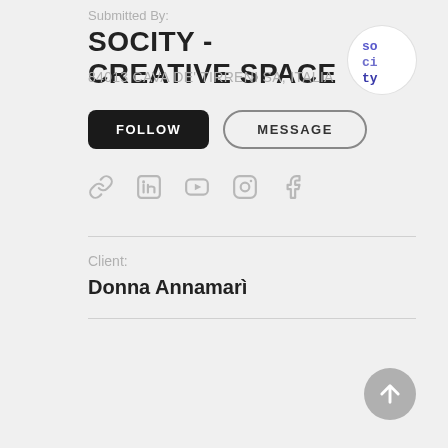Submitted By:
SOCITY - CREATIVE SPACE
84013 CAVA DE' TIRRENI SA, ITALIA
[Figure (logo): Socity logo: circular white badge with stylized text 'so ci ty' in blue monospace lettering]
FOLLOW
MESSAGE
[Figure (infographic): Social media icons: link, LinkedIn, YouTube, Instagram, Facebook — all in light grey]
Client:
Donna Annamarì